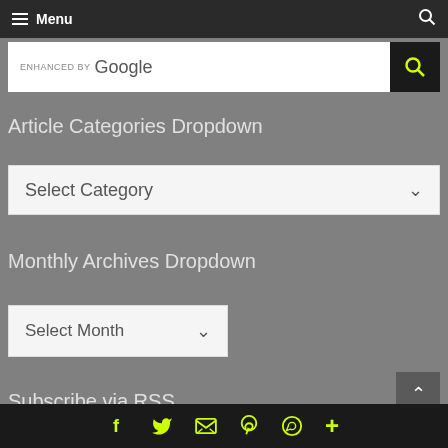Menu
[Figure (screenshot): Google enhanced search bar with yellow search button]
Article Categories Dropdown
[Figure (screenshot): Select Category dropdown]
Monthly Archives Dropdown
[Figure (screenshot): Select Month dropdown]
Subscribe via RSS
Social icons: Facebook, Twitter, Email, Pinterest, WhatsApp, Plus